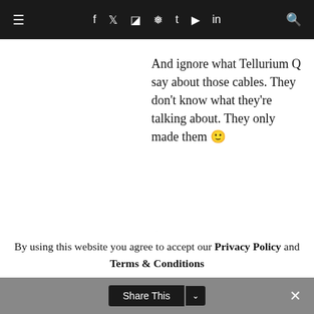≡  f  [twitter]  [instagram]  [pinterest]  t  [youtube]  in  [search]
And ignore what Tellurium Q say about those cables. They don't know what they're talking about. They only made them 🙂
★ Like
DERMOT  Reply
2nd August 2021 at
By using this website you agree to accept our Privacy Policy and Terms & Conditions
Share This  ∨  ✕